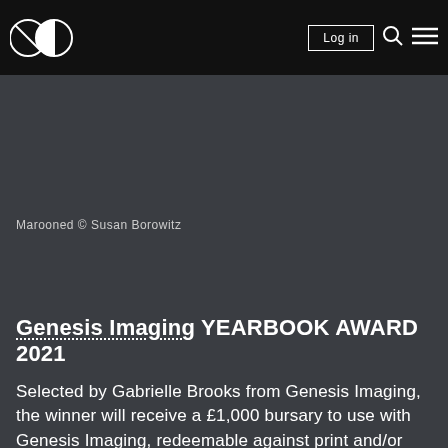[Figure (logo): Two overlapping circle logo in white on black background, navigation bar with Log in button, search icon, and hamburger menu icon]
Marooned © Susan Borowitz
Genesis Imaging YEARBOOK AWARD 2021
Selected by Gabrielle Brooks from Genesis Imaging, the winner will receive a £1,000 bursary to use with Genesis Imaging, redeemable against print and/or finishing services, plus a mentorship with Genesis